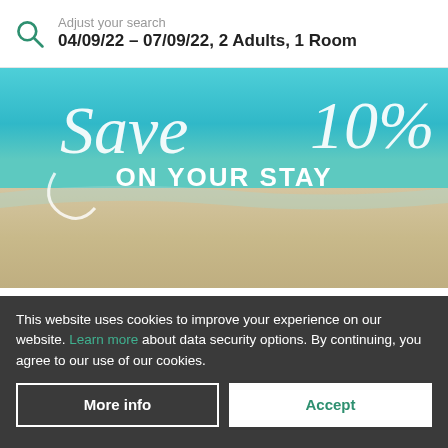Adjust your search
04/09/22 – 07/09/22, 2 Adults, 1 Room
[Figure (photo): Beach promotional image showing turquoise water, white sand, and stylized text reading 'Save 10%. ON YOUR STAY']
Super Saver Rate
10% off on your stay
This website uses cookies to improve your experience on our website. Learn more about data security options. By continuing, you agree to our use of our cookies.